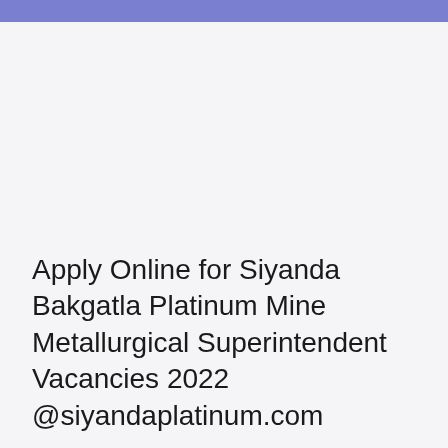Apply Online for Siyanda Bakgatla Platinum Mine Metallurgical Superintendent Vacancies 2022 @siyandaplatinum.com
August 25, 2022